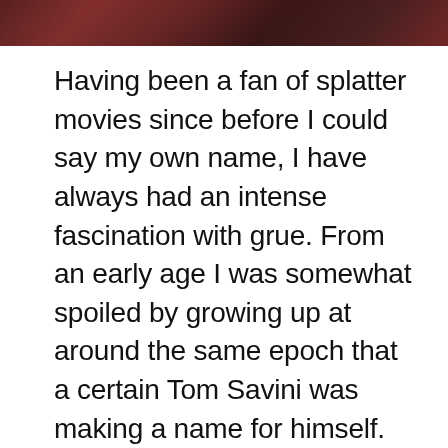[Figure (photo): Partial image visible at the top of the page, dark/red toned image cropped at the top edge]
Having been a fan of splatter movies since before I could say my own name, I have always had an intense fascination with grue. From an early age I was somewhat spoiled by growing up at around the same epoch that a certain Tom Savini was making a name for himself. Films such as The Burning, Friday the 13th and Day of the Dead cemented my fascination and practical FX became something which I have had a vested interest in right through my filmic upbringing. I have bared witness to a thousand throats being slashed, numerous disembowelments and umpteen